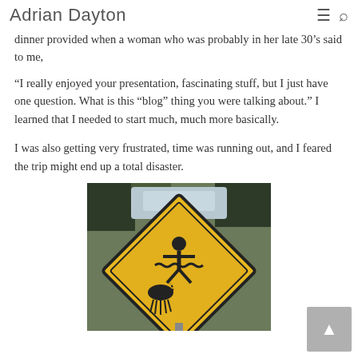Adrian Dayton
dinner provided when a woman who was probably in her late 30’s said to me,
“I really enjoyed your presentation, fascinating stuff, but I just have one question. What is this “blog” thing you were talking about.” I learned that I needed to start much, much more basically.
I was also getting very frustrated, time was running out, and I feared the trip might end up a total disaster.
[Figure (photo): A yellow diamond-shaped warning sign attached to a post, showing a pictogram of a person being stung by a jellyfish in water, with trees visible in the background.]